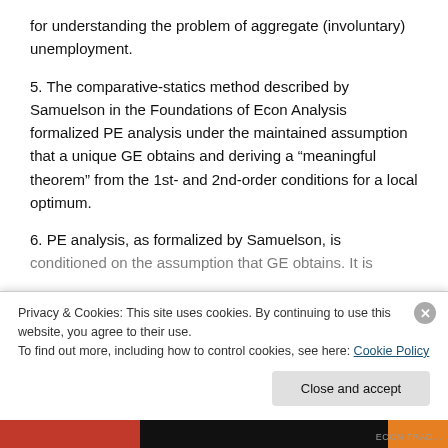for understanding the problem of aggregate (involuntary) unemployment.
5. The comparative-statics method described by Samuelson in the Foundations of Econ Analysis formalized PE analysis under the maintained assumption that a unique GE obtains and deriving a “meaningful theorem” from the 1st- and 2nd-order conditions for a local optimum.
6. PE analysis, as formalized by Samuelson, is conditioned on the assumption that GE obtains. It is
Privacy & Cookies: This site uses cookies. By continuing to use this website, you agree to their use.
To find out more, including how to control cookies, see here: Cookie Policy